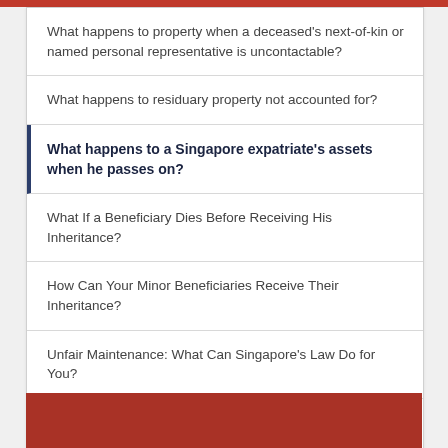What happens to property when a deceased's next-of-kin or named personal representative is uncontactable?
What happens to residuary property not accounted for?
What happens to a Singapore expatriate's assets when he passes on?
What If a Beneficiary Dies Before Receiving His Inheritance?
How Can Your Minor Beneficiaries Receive Their Inheritance?
Unfair Maintenance: What Can Singapore's Law Do for You?
Muslim Inheritance Law